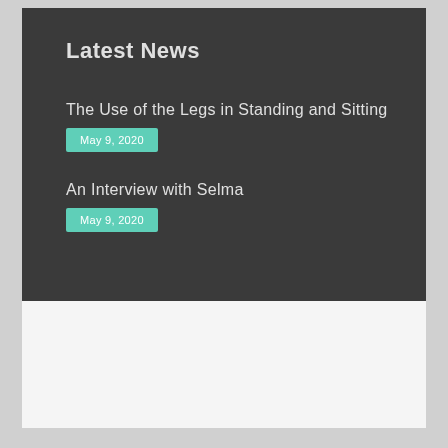Latest News
The Use of the Legs in Standing and Sitting
May 9, 2020
An Interview with Selma
May 9, 2020
Copyright © 2021 The Well-Tempered Musician. All Rights Reserved | Privacy Policy | Website Maintained by Nebulas Website Design.